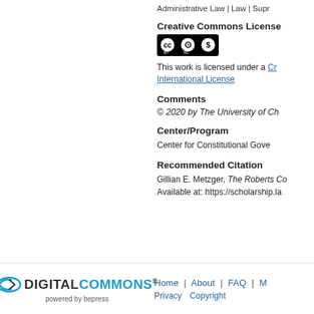Administrative Law | Law | Supr...
Creative Commons License
[Figure (logo): Creative Commons BY-NC license badge with CC, person, and dollar-sign-circle icons]
This work is licensed under a Creative Commons ... International License
Comments
© 2020 by The University of Ch...
Center/Program
Center for Constitutional Gove...
Recommended Citation
Gillian E. Metzger, The Roberts Co...
Available at: https://scholarship.la...
[Figure (logo): Digital Commons powered by bepress logo]
Home | About | FAQ | M... Privacy Copyright